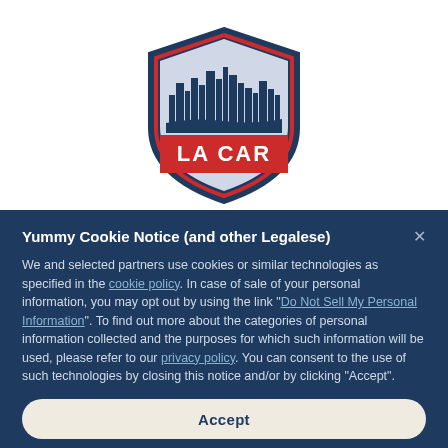[Figure (logo): LA CAR shield logo with city skyline silhouette in navy blue, red border, and red LA CAR text]
Yummy Cookie Notice (and other Legalese)
We and selected partners use cookies or similar technologies as specified in the cookie policy. In case of sale of your personal information, you may opt out by using the link "Do Not Sell My Personal Information". To find out more about the categories of personal information collected and the purposes for which such information will be used, please refer to our privacy policy. You can consent to the use of such technologies by closing this notice and/or by clicking "Accept".
Accept